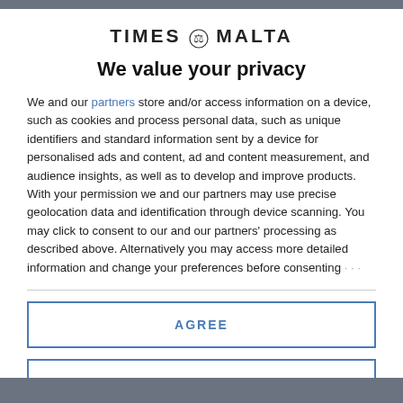[Figure (logo): Times of Malta logo with text TIMES MALTA and a small emblem in between]
We value your privacy
We and our partners store and/or access information on a device, such as cookies and process personal data, such as unique identifiers and standard information sent by a device for personalised ads and content, ad and content measurement, and audience insights, as well as to develop and improve products. With your permission we and our partners may use precise geolocation data and identification through device scanning. You may click to consent to our and our partners' processing as described above. Alternatively you may access more detailed information and change your preferences before consenting
AGREE
MORE OPTIONS